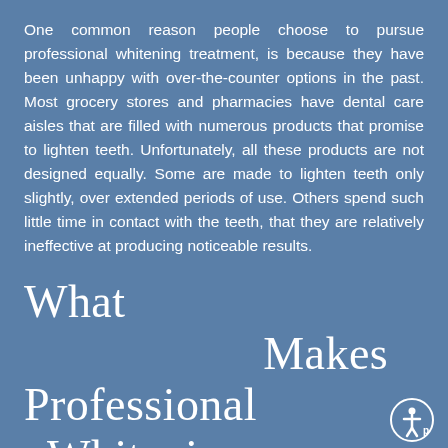One common reason people choose to pursue professional whitening treatment, is because they have been unhappy with over-the-counter options in the past. Most grocery stores and pharmacies have dental care aisles that are filled with numerous products that promise to lighten teeth. Unfortunately, all these products are not designed equally. Some are made to lighten teeth only slightly, over extended periods of use. Others spend such little time in contact with the teeth, that they are relatively ineffective at producing noticeable results.
What Makes Professional Whitening Different
Professional whitening, however, helps to break surface stains, allowing for dramatic results. In fact, many